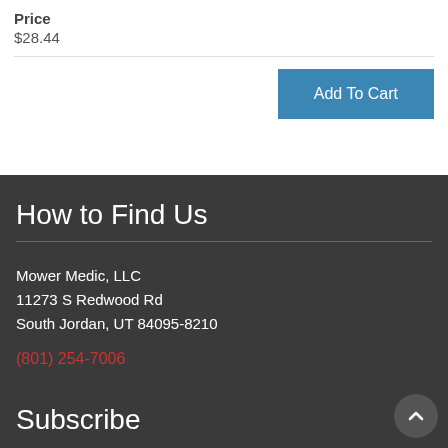Price
$28.44
Add To Cart
How to Find Us
Mower Medic, LLC
11273 S Redwood Rd
South Jordan, UT 84095-8210
(801) 254-7006
Subscribe